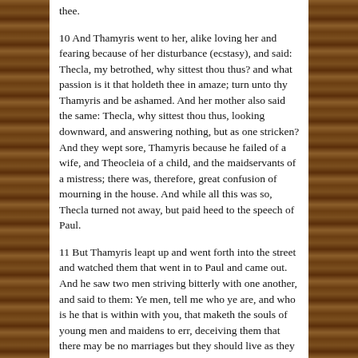thee.
10 And Thamyris went to her, alike loving her and fearing because of her disturbance (ecstasy), and said: Thecla, my betrothed, why sittest thou thus? and what passion is it that holdeth thee in amaze; turn unto thy Thamyris and be ashamed. And her mother also said the same: Thecla, why sittest thou thus, looking downward, and answering nothing, but as one stricken? And they wept sore, Thamyris because he failed of a wife, and Theocleia of a child, and the maidservants of a mistress; there was, therefore, great confusion of mourning in the house. And while all this was so, Thecla turned not away, but paid heed to the speech of Paul.
11 But Thamyris leapt up and went forth into the street and watched them that went in to Paul and came out. And he saw two men striving bitterly with one another, and said to them: Ye men, tell me who ye are, and who is he that is within with you, that maketh the souls of young men and maidens to err, deceiving them that there may be no marriages but they should live as they are. I promise therefore to give you much money if ye will tell me of him: for I am a chief man